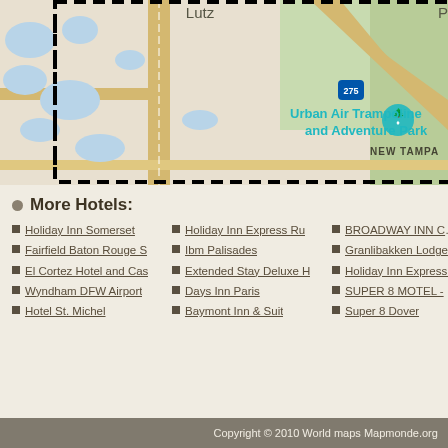[Figure (map): Street map showing Lutz and New Tampa area in Florida, with I-275 highway, Urban Air Trampoline and Adventure Park marker, water bodies (blue), green areas, and roads. A dashed rectangle outlines a search area. 'Pe' text visible top right (partially cut off).]
More Hotels:
Holiday Inn Somerset
Holiday Inn Express Ru
BROADWAY INN CON
Fairfield Baton Rouge S
Ibm Palisades
Granlibakken Lodge an
El Cortez Hotel and Cas
Extended Stay Deluxe H
Holiday Inn Express & S
Wyndham DFW Airport
Days Inn Paris
SUPER 8 MOTEL -
Hotel St. Michel
Baymont Inn & Suit
Super 8 Dover
Copyright © 2010 World maps Mapmonde.org